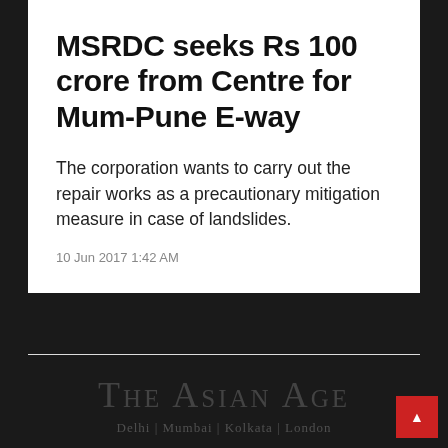MSRDC seeks Rs 100 crore from Centre for Mum-Pune E-way
The corporation wants to carry out the repair works as a precautionary mitigation measure in case of landslides.
10 Jun 2017 1:42 AM
[Figure (logo): The Asian Age newspaper watermark logo with tagline 'Delhi | Mumbai | Kolkata | London']